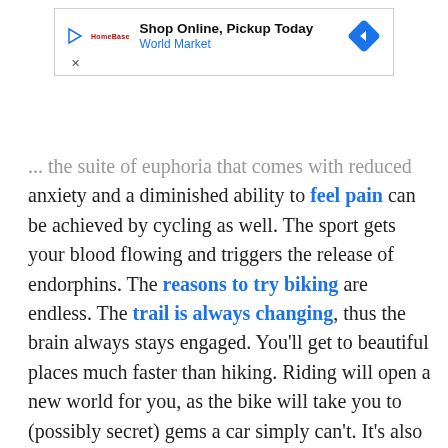[Figure (other): Advertisement banner: Shop Online, Pickup Today – World Market]
...the suite of euphoria that comes with reduced anxiety and a diminished ability to feel pain can be achieved by cycling as well. The sport gets your blood flowing and triggers the release of endorphins. The reasons to try biking are endless. The trail is always changing, thus the brain always stays engaged. You'll get to beautiful places much faster than hiking. Riding will open a new world for you, as the bike will take you to (possibly secret) gems a car simply can't. It's also a way to stay active if you've been injured because it's low-impact and works every part of the body. Also, a study analyzing 10,000 people showed that riding a bicycle for at least 20 miles in a week, diminishes your risk...